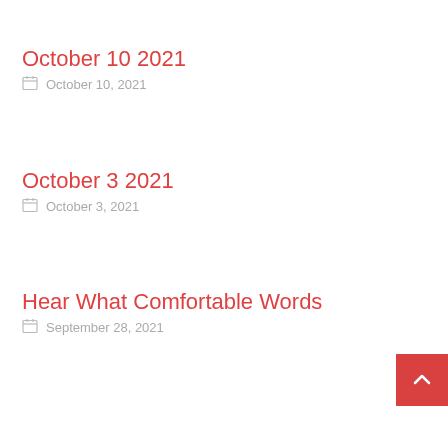October 10 2021
October 10, 2021
October 3 2021
October 3, 2021
Hear What Comfortable Words
September 28, 2021